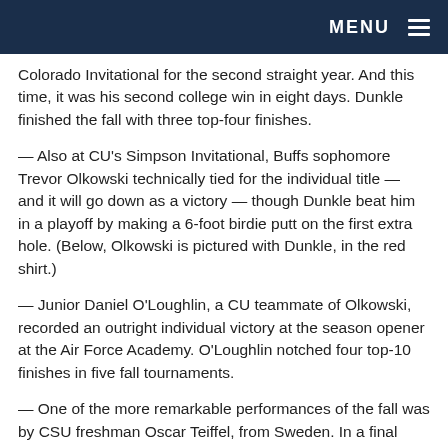MENU
Colorado Invitational for the second straight year. And this time, it was his second college win in eight days. Dunkle finished the fall with three top-four finishes.
— Also at CU's Simpson Invitational, Buffs sophomore Trevor Olkowski technically tied for the individual title — and it will go down as a victory — though Dunkle beat him in a playoff by making a 6-foot birdie putt on the first extra hole. (Below, Olkowski is pictured with Dunkle, in the red shirt.)
— Junior Daniel O'Loughlin, a CU teammate of Olkowski, recorded an outright individual victory at the season opener at the Air Force Academy. O'Loughlin notched four top-10 finishes in five fall tournaments.
— One of the more remarkable performances of the fall was by CSU freshman Oscar Teiffel, from Sweden. In a final round of the Paintbrush Invitational, his high tee score at one hole...